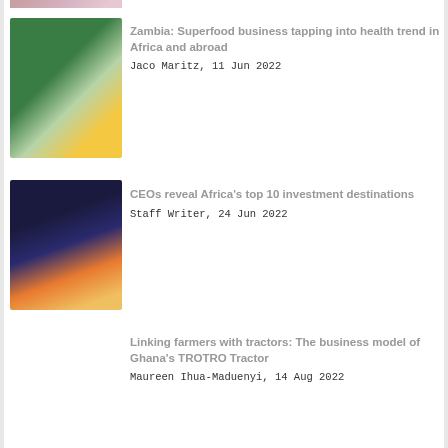[Figure (photo): Partial top thumbnail image, cropped at top of page]
[Figure (photo): Person standing among lush green plants in sunlight - Zambia superfood article thumbnail]
Zambia: Superfood business tapping into health trend in Africa and abroad
Jaco Maritz, 11 Jun 2022
[Figure (photo): Aerial night view of African city with illuminated streets and buildings - CEOs investment article thumbnail]
CEOs reveal Africa's top 10 investment destinations
Staff Writer, 24 Jun 2022
Linking farmers with tractors: The business model of Ghana's TROTRO Tractor
Maureen Ihua-Maduenyi, 14 Aug 2022